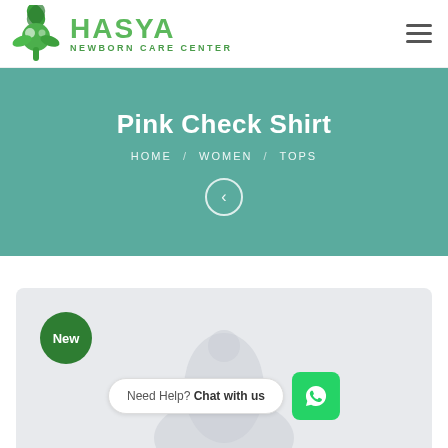[Figure (logo): Hasya Newborn Care Center logo with green cross/leaf icon and green text]
Pink Check Shirt
HOME / WOMEN / TOPS
[Figure (screenshot): Product page with light gray card, New badge, silhouette placeholder, Need Help? Chat with us widget, and WhatsApp button]